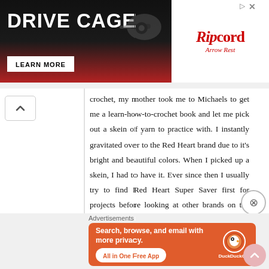[Figure (illustration): Drive Cage advertisement banner with Ripcord Arrow Rest branding. Black and red background on left showing 'DRIVE CAGE' text with 'LEARN MORE' button and arrow rest product image. White right side with red Ripcord logo text and 'Arrow Rest' subtitle.]
crochet, my mother took me to Michaels to get me a learn-how-to-crochet book and let me pick out a skein of yarn to practice with. I instantly gravitated over to the Red Heart brand due to it's bright and beautiful colors. When I picked up a skein, I had to have it. Ever since then I usually try to find Red Heart Super Saver first for projects before looking at other brands on the shelf. Now, just because Red Heart is my favorite brand does not mean that I don't love
Advertisements
[Figure (illustration): DuckDuckGo advertisement on orange-red background. Text: 'Search, browse, and email with more privacy. All in One Free App' with DuckDuckGo logo and duck icon on right side.]